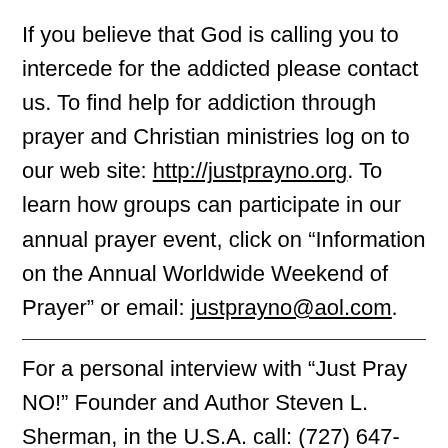If you believe that God is calling you to intercede for the addicted please contact us. To find help for addiction through prayer and Christian ministries log on to our web site: http://justprayno.org. To learn how groups can participate in our annual prayer event, click on “Information on the Annual Worldwide Weekend of Prayer” or email: justprayno@aol.com.
For a personal interview with “Just Pray NO!” Founder and Author Steven L. Sherman, in the U.S.A. call: (727) 647-6467 or email: